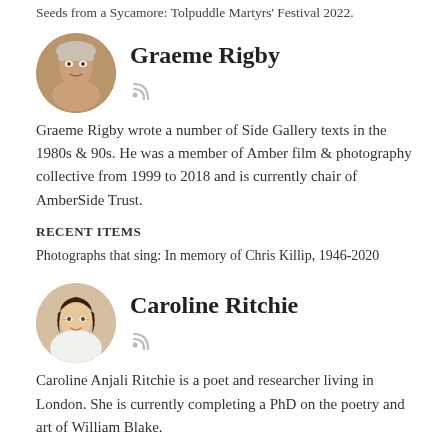Seeds from a Sycamore: Tolpuddle Martyrs' Festival 2022.
[Figure (photo): Circular avatar photo of Graeme Rigby, an older man with grey hair]
Graeme Rigby
Graeme Rigby wrote a number of Side Gallery texts in the 1980s & 90s. He was a member of Amber film & photography collective from 1999 to 2018 and is currently chair of AmberSide Trust.
RECENT ITEMS
Photographs that sing: In memory of Chris Killip, 1946-2020
[Figure (photo): Circular avatar photo of Caroline Ritchie, a young woman with dark hair]
Caroline Ritchie
Caroline Anjali Ritchie is a poet and researcher living in London. She is currently completing a PhD on the poetry and art of William Blake.